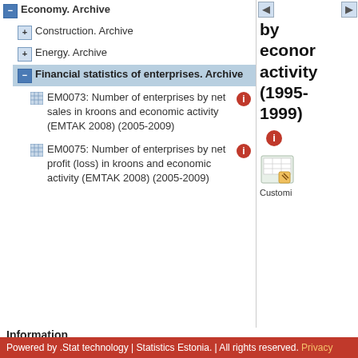Economy. Archive
Construction. Archive
Energy. Archive
Financial statistics of enterprises. Archive
EM0073: Number of enterprises by net sales in kroons and economic activity (EMTAK 2008) (2005-2009)
EM0075: Number of enterprises by net profit (loss) in kroons and economic activity (EMTAK 2008) (2005-2009)
by economic activity (1995-1999)
Customi
Information
Loading...
Powered by .Stat technology | Statistics Estonia. | All rights reserved. Privacy